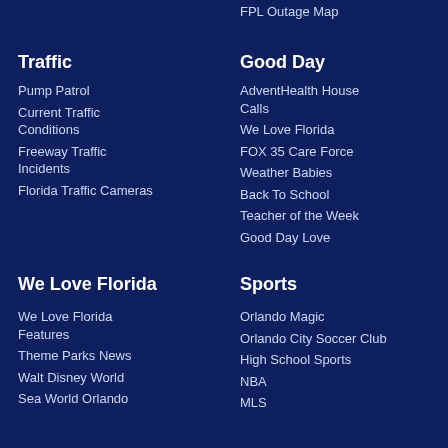FPL Outage Map
Traffic
Pump Patrol
Current Traffic Conditions
Freeway Traffic Incidents
Florida Traffic Cameras
Good Day
AdventHealth House Calls
We Love Florida
FOX 35 Care Force
Weather Babies
Back To School
Teacher of the Week
Good Day Love
We Love Florida
We Love Florida Features
Theme Parks News
Walt Disney World
Sea World Orlando
Sports
Orlando Magic
Orlando City Soccer Club
High School Sports
NBA
MLS